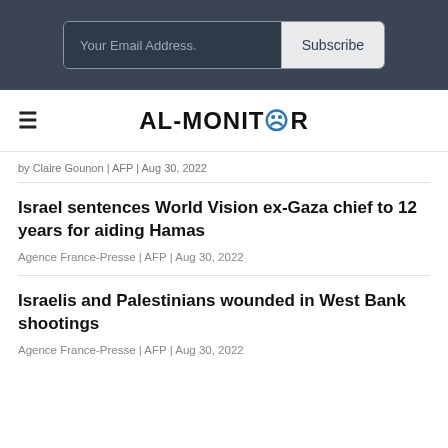Your Email Address. | Subscribe
AL-MONITOR
by Claire Gounon | AFP | Aug 30, 2022
Israel sentences World Vision ex-Gaza chief to 12 years for aiding Hamas
Agence France-Presse | AFP | Aug 30, 2022
Israelis and Palestinians wounded in West Bank shootings
Agence France-Presse | AFP | Aug 30, 2022